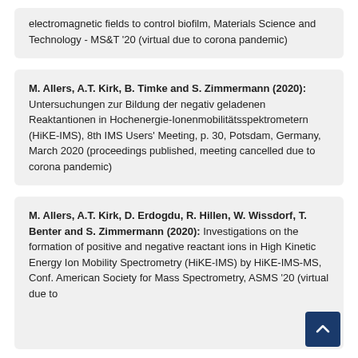electromagnetic fields to control biofilm, Materials Science and Technology - MS&T '20 (virtual due to corona pandemic)
M. Allers, A.T. Kirk, B. Timke and S. Zimmermann (2020): Untersuchungen zur Bildung der negativ geladenen Reaktantionen in Hochenergie-Ionenmobilitätsspektrometern (HiKE-IMS), 8th IMS Users' Meeting, p. 30, Potsdam, Germany, March 2020 (proceedings published, meeting cancelled due to corona pandemic)
M. Allers, A.T. Kirk, D. Erdogdu, R. Hillen, W. Wissdorf, T. Benter and S. Zimmermann (2020): Investigations on the formation of positive and negative reactant ions in High Kinetic Energy Ion Mobility Spectrometry (HiKE-IMS) by HiKE-IMS-MS, Conf. American Society for Mass Spectrometry, ASMS '20 (virtual due to corona pandemic)